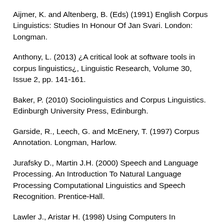Aijmer, K. and Altenberg, B. (Eds) (1991) English Corpus Linguistics: Studies In Honour Of Jan Svari. London: Longman.
Anthony, L. (2013) ¿A critical look at software tools in corpus linguistics¿, Linguistic Research, Volume 30, Issue 2, pp. 141-161.
Baker, P. (2010) Sociolinguistics and Corpus Linguistics. Edinburgh University Press, Edinburgh.
Garside, R., Leech, G. and McEnery, T. (1997) Corpus Annotation. Longman, Harlow.
Jurafsky D., Martin J.H. (2000) Speech and Language Processing. An Introduction To Natural Language Processing Computational Linguistics and Speech Recognition. Prentice-Hall.
Lawler J., Aristar H. (1998) Using Computers In Linguistics. A Practical Guide. Routledge.